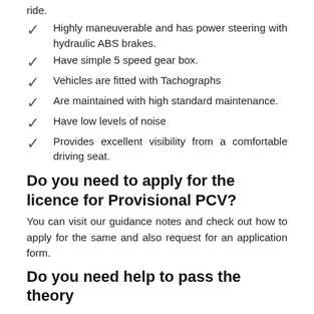ride.
Highly maneuverable and has power steering with hydraulic ABS brakes.
Have simple 5 speed gear box.
Vehicles are fitted with Tachographs
Are maintained with high standard maintenance.
Have low levels of noise
Provides excellent visibility from a comfortable driving seat.
Do you need to apply for the licence for Provisional PCV?
You can visit our guidance notes and check out how to apply for the same and also request for an application form.
Do you need help to pass the theory